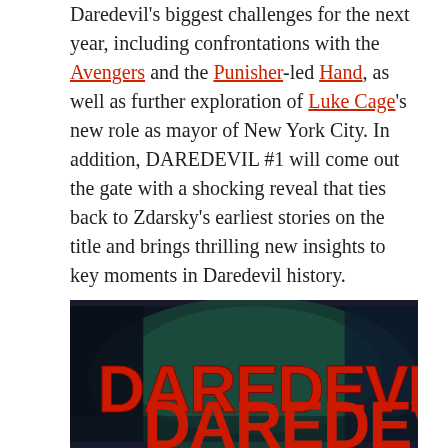Daredevil's biggest challenges for the next year, including confrontations with the Avengers and the Punisher-led Hand, as well as further exploration of Luke Cage's new role as mayor of New York City. In addition, DAREDEVIL #1 will come out the gate with a shocking reveal that ties back to Zdarsky's earliest stories on the title and brings thrilling new insights to key moments in Daredevil history.
"DAREDEVIL is my magnum opus," Zdarsky told CBR in a recent interview. "To get the chance to tell such a long story over years at Marvel with the same primary artist is a gift. Marco and I are over the moon with how readers have supported our book, and we promise you that we're giving it our all and building to something that we think is really special."
[Figure (illustration): Daredevil comic book cover showing the red DAREDEVIL logo text on a dark background with a figure silhouette]